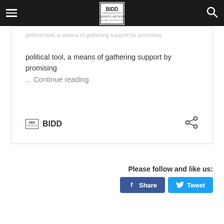BIDD website navigation header with hamburger menu and search icon
political tool, a means of gathering support by promising ... Continue reading
BIDD
Please follow and like us:
[Figure (screenshot): Facebook Share button (blue) and Twitter Tweet button (light blue)]